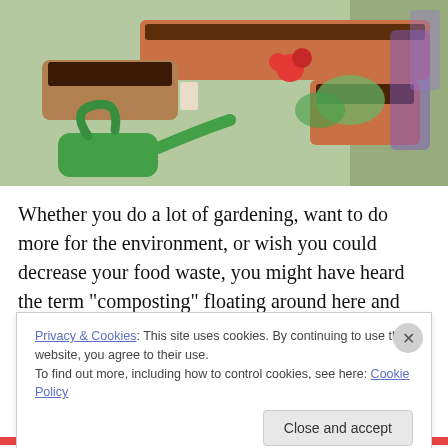[Figure (photo): Photo of garden pots with soil, a green watering can, a red flower, and various plants on a shelf or balcony.]
Whether you do a lot of gardening, want to do more for the environment, or wish you could decrease your food waste, you might have heard the term “composting” floating around here and there. It might sound like an intimidating endeavor, but composting is actually a pretty simple and effective way you can reduce your waste while improving
Privacy & Cookies: This site uses cookies. By continuing to use this website, you agree to their use.
To find out more, including how to control cookies, see here: Cookie Policy
Close and accept